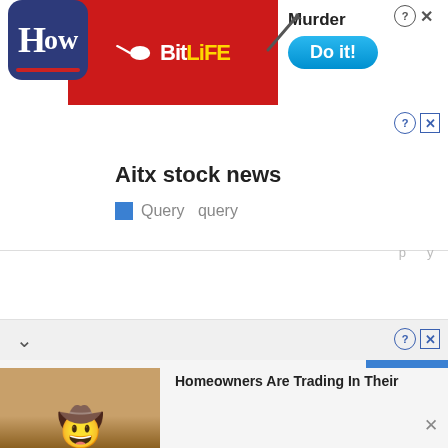[Figure (screenshot): BitLife app advertisement banner with red background, BitLife logo with sperm icon, yellow text, and a blue 'Do it!' button. Murder text and knife graphic visible. Close/info icons in top right.]
Aitx stock news
Query   query
[Figure (screenshot): Bottom advertisement bar showing a cowboy/homeowner image on the left and text 'Homeowners Are Trading In Their' on the right, with a collapse chevron and close icons.]